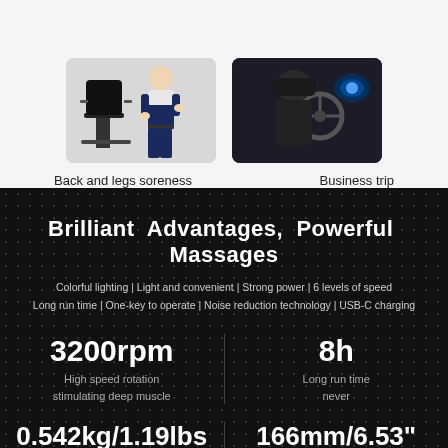[Figure (photo): Person standing next to an office chair, illustrating back and legs soreness use case]
Back and legs soreness
[Figure (photo): Person driving a car, viewed from behind, illustrating business trip use case]
Business trip
Brilliant Advantages, Powerful Massages
Colorful lighting | Light and convenient | Strong power | 6 levels of speed
Long run time | One-key to operate | Noise reduction technology | USB-C charging
3200rpm
High speed rotation stimulating deep muscle
8h
Long run time never
0.542kg/1.19lbs
166mm/6.53"